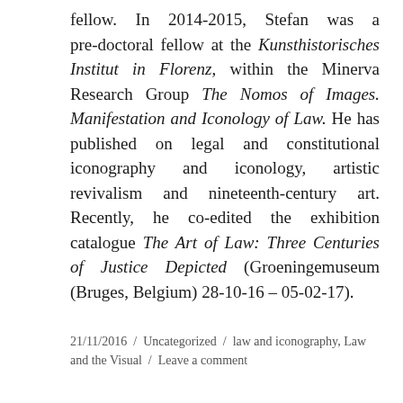fellow. In 2014–2015, Stefan was a pre-doctoral fellow at the Kunsthistorisches Institut in Florenz, within the Minerva Research Group The Nomos of Images. Manifestation and Iconology of Law. He has published on legal and constitutional iconography and iconology, artistic revivalism and nineteenth-century art. Recently, he co-edited the exhibition catalogue The Art of Law: Three Centuries of Justice Depicted (Groeningemuseum (Bruges, Belgium) 28-10-16 – 05-02-17).
21/11/2016 / Uncategorized / law and iconography, Law and the Visual / Leave a comment